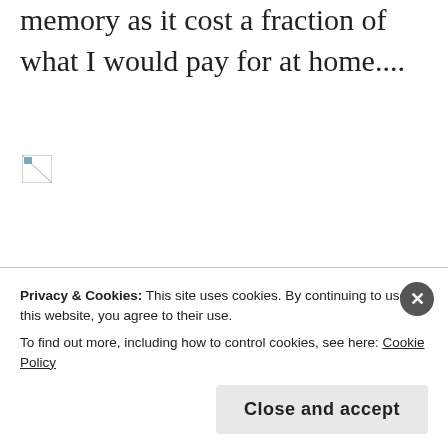memory as it cost a fraction of what I would pay for at home....
[Figure (photo): Broken image placeholder icon]
Cù Chi  Tunnels
[Figure (photo): Broken image placeholder icon]
Privacy & Cookies: This site uses cookies. By continuing to use this website, you agree to their use.
To find out more, including how to control cookies, see here: Cookie Policy